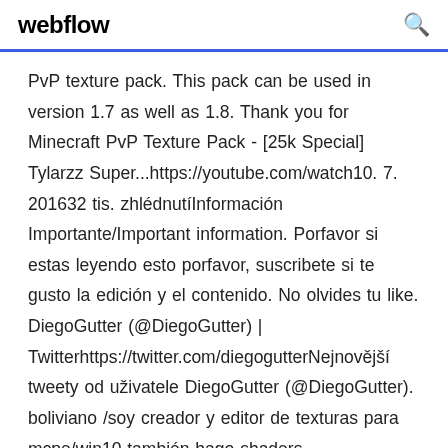webflow
PvP texture pack. This pack can be used in version 1.7 as well as 1.8. Thank you for Minecraft PvP Texture Pack - [25k Special] Tylarzz Super...https://youtube.com/watch10. 7. 201632 tis. zhlédnutíInformación Importante/Important information. Porfavor si estas leyendo esto porfavor, suscribete si te gusto la edición y el contenido. No olvides tu like. DiegoGutter (@DiegoGutter) | Twitterhttps://twitter.com/diegogutterNejnovější tweety od uživatele DiegoGutter (@DiegoGutter). boliviano /soy creador y editor de texturas para mcpe/win10 también hago shaders Facebook(Fanpage): facebook.com/Marco X93 Twitte...